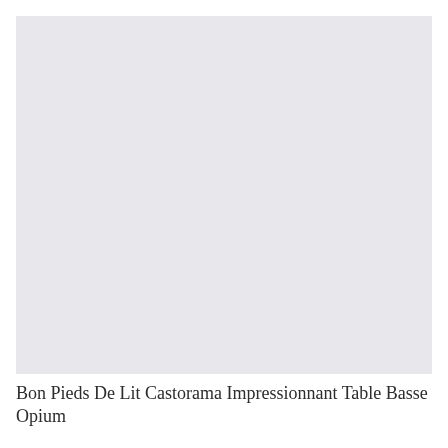[Figure (photo): Large light gray rectangular placeholder image area]
Bon Pieds De Lit Castorama Impressionnant Table Basse Opium